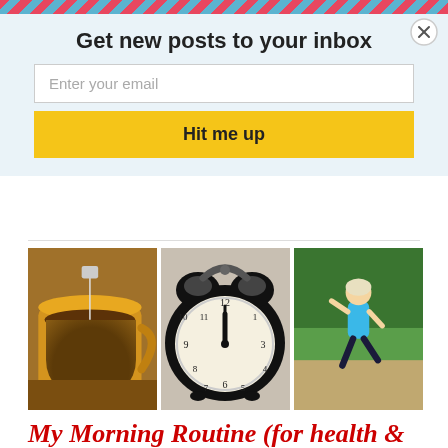Get new posts to your inbox
Enter your email
Hit me up
[Figure (photo): Three side-by-side photos: a yellow mug with tea, a black alarm clock showing nearly midnight, and a woman jogging outdoors in a blue tank top]
My Morning Routine (for health &